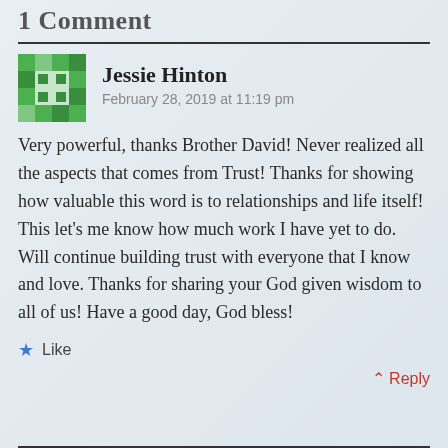1 Comment
Jessie Hinton
February 28, 2019 at 11:19 pm
Very powerful, thanks Brother David! Never realized all the aspects that comes from Trust! Thanks for showing how valuable this word is to relationships and life itself! This let's me know how much work I have yet to do. Will continue building trust with everyone that I know and love. Thanks for sharing your God given wisdom to all of us! Have a good day, God bless!
★ Like
↑ Reply